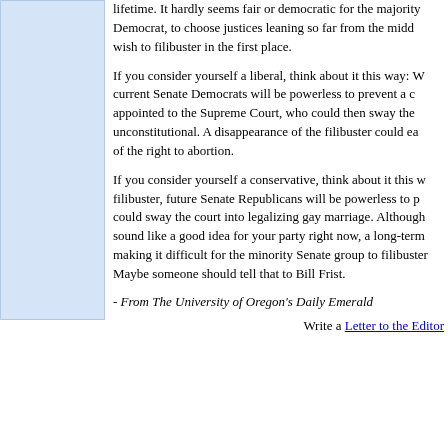lifetime. It hardly seems fair or democratic for the majority Democrat, to choose justices leaning so far from the middle wish to filibuster in the first place.
If you consider yourself a liberal, think about it this way: W current Senate Democrats will be powerless to prevent a c appointed to the Supreme Court, who could then sway the unconstitutional. A disappearance of the filibuster could ea of the right to abortion.
If you consider yourself a conservative, think about it this w filibuster, future Senate Republicans will be powerless to p could sway the court into legalizing gay marriage. Although sound like a good idea for your party right now, a long-term making it difficult for the minority Senate group to filibuster Maybe someone should tell that to Bill Frist.
- From The University of Oregon's Daily Emerald
Write a Letter to the Editor
NEWS | SPORTS | OPINIONS | GO WILD CLASSIFIEDS | ARCHIVES | CONTACT US | SEARCH
Webmaster - webmaster@wildcat.arizona.edu © Copyright 2005 - The Arizona Daily Wildcat - Arizona Student Media